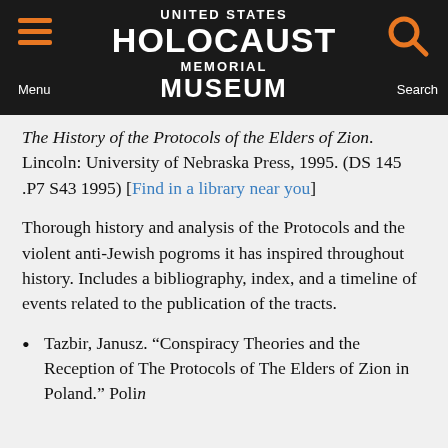UNITED STATES HOLOCAUST MEMORIAL MUSEUM
The History of the Protocols of the Elders of Zion. Lincoln: University of Nebraska Press, 1995. (DS 145 .P7 S43 1995) [Find in a library near you]
Thorough history and analysis of the Protocols and the violent anti-Jewish pogroms it has inspired throughout history. Includes a bibliography, index, and a timeline of events related to the publication of the tracts.
Tazbir, Janusz. “Conspiracy Theories and the Reception of The Protocols of The Elders of Zion in Poland.” Polin...